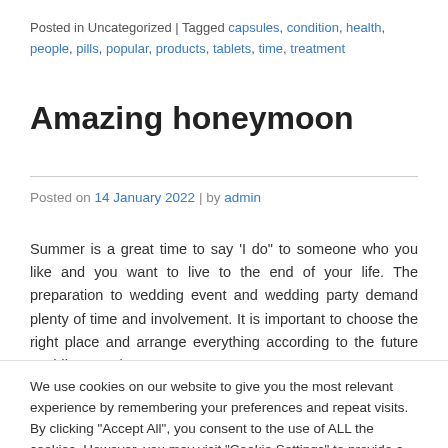Posted in Uncategorized | Tagged capsules, condition, health, people, pills, popular, products, tablets, time, treatment
Amazing honeymoon
Posted on 14 January 2022 | by admin
Summer is a great time to say ‘I do” to someone who you like and you want to live to the end of your life. The preparation to wedding event and wedding party demand plenty of time and involvement. It is important to choose the right place and arrange everything according to the future wedding couple’s
We use cookies on our website to give you the most relevant experience by remembering your preferences and repeat visits. By clicking “Accept All”, you consent to the use of ALL the cookies. However, you may visit “Cookie Settings” to provide a controlled consent.